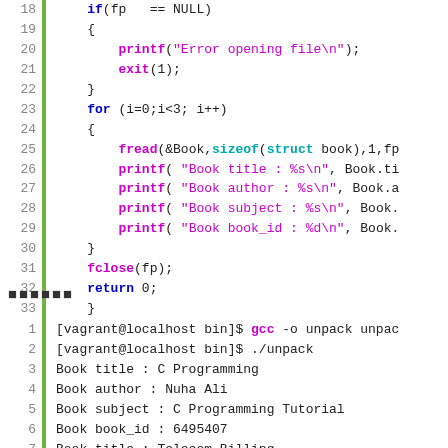[Figure (screenshot): Code snippet in C showing lines 18-34 with syntax highlighting. Green gutter bar on left. Line numbers in gray. Keywords in blue bold, function names in magenta bold, strings in magenta.]
⬛⬛⬛⬛⬛⬛ (Japanese/Chinese characters)
[Figure (screenshot): Terminal output lines 1-8 showing compilation command and program output with book details.]